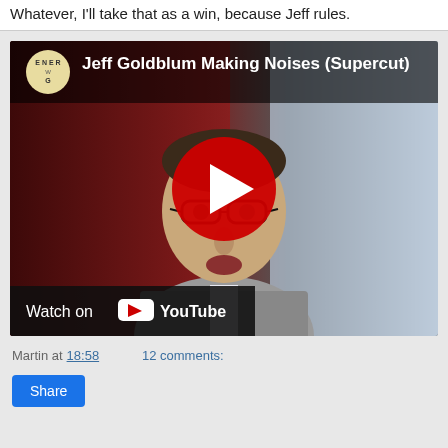Whatever, I'll take that as a win, because Jeff rules.
[Figure (screenshot): YouTube video embed thumbnail showing Jeff Goldblum Making Noises (Supercut) with a play button overlay and 'Watch on YouTube' label at the bottom.]
Martin at 18:58    12 comments:
Share